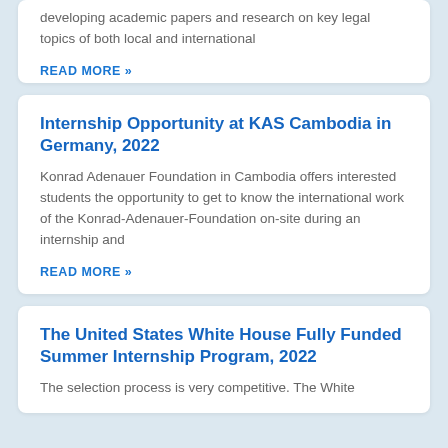developing academic papers and research on key legal topics of both local and international
READ MORE »
Internship Opportunity at KAS Cambodia in Germany, 2022
Konrad Adenauer Foundation in Cambodia offers interested students the opportunity to get to know the international work of the Konrad-Adenauer-Foundation on-site during an internship and
READ MORE »
The United States White House Fully Funded Summer Internship Program, 2022
The selection process is very competitive. The White